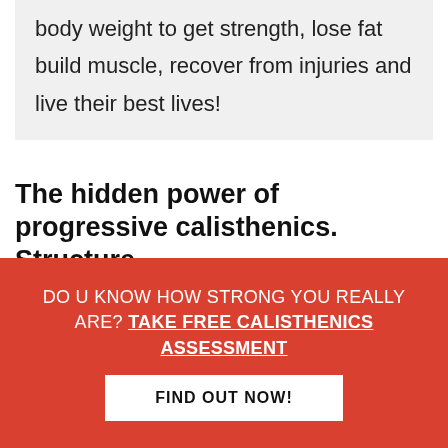body weight to get strength, lose fat build muscle, recover from injuries and live their best lives!
The hidden power of progressive calisthenics. Structure.
So you have learned already principles of calisthenics which will set you up for success as well as we looked at ways of progressing
[Figure (infographic): Red banner popup with text: DO U KNOW HOW STRONG YOU REALLY ARE? TAKE FREE CALISTHENICS ASSESSMENT, and a white button: FIND OUT NOW!]